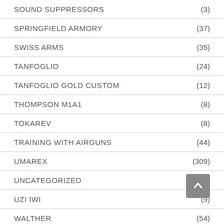SOUND SUPPRESSORS (3)
SPRINGFIELD ARMORY (37)
SWISS ARMS (35)
TANFOGLIO (24)
TANFOGLIO GOLD CUSTOM (12)
THOMPSON M1A1 (8)
TOKAREV (8)
TRAINING WITH AIRGUNS (44)
UMAREX (309)
UNCATEGORIZED (75)
UZI IWI (9)
WALTHER (54)
WEBLEY (34)